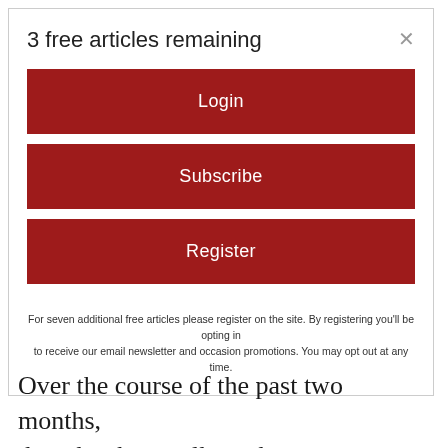3 free articles remaining
Login
Subscribe
Register
For seven additional free articles please register on the site. By registering you'll be opting in to receive our email newsletter and occasion promotions. You may opt out at any time.
Over the course of the past two months, there has been talk on the “Easthampton, MA Group Page” on Facebook regarding the